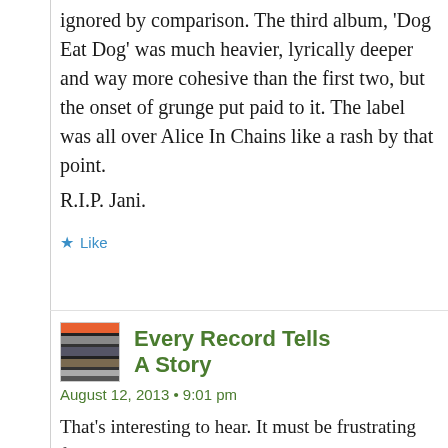ignored by comparison. The third album, 'Dog Eat Dog' was much heavier, lyrically deeper and way more cohesive than the first two, but the onset of grunge put paid to it. The label was all over Alice In Chains like a rash by that point.
R.I.P. Jani.
★ Like
[Figure (photo): Small avatar image of stacked records/albums]
Every Record Tells A Story
August 12, 2013 • 9:01 pm
That's interesting to hear. It must be frustrating for a band to be known for one representative...